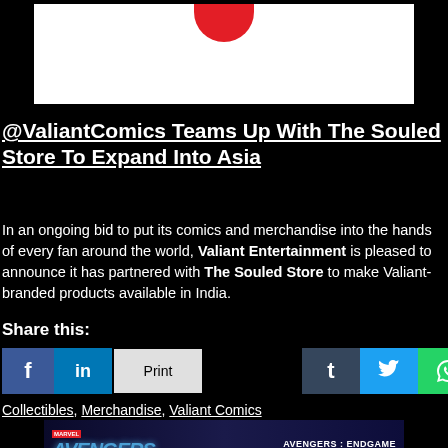[Figure (illustration): White background panel with red curved shape at top, resembling part of a logo on black background]
@ValiantComics Teams Up With The Souled Store To Expand Into Asia
In an ongoing bid to put its comics and merchandise into the hands of every fan around the world, Valiant Entertainment is pleased to announce it has partnered with The Souled Store to make Valiant-branded products available in India.
Share this:
[Figure (infographic): Social media share buttons: Facebook, LinkedIn, Print, Tumblr, Twitter, WhatsApp]
Collectibles, Merchandise, Valiant Comics
[Figure (photo): Avengers: Endgame merchandise banner with Marvel logo and product code MEA-011]